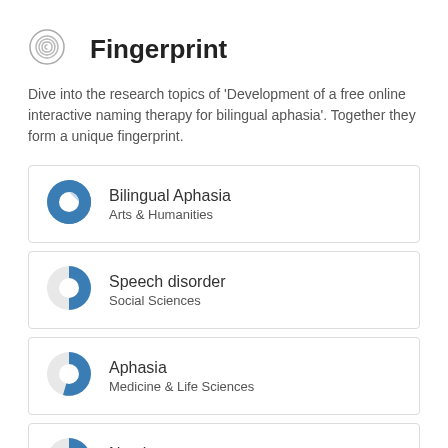Fingerprint
Dive into the research topics of 'Development of a free online interactive naming therapy for bilingual aphasia'. Together they form a unique fingerprint.
Bilingual Aphasia
Arts & Humanities
Speech disorder
Social Sciences
Aphasia
Medicine & Life Sciences
Naming
Arts & Humanities